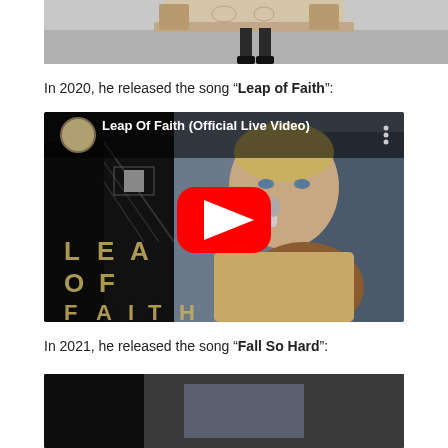[Figure (photo): Partial top image showing a couch/sofa and person's feet on a plain floor, cropped at top of page]
In 2020, he released the song “Leap of Faith”:
[Figure (screenshot): YouTube video thumbnail for 'Leap Of Faith (Official Live Video)' showing a man singing into microphone while playing guitar, with large YouTube play button overlay and text 'LEAP OF FAITH' across lower portion]
In 2021, he released the song “Fall So Hard”:
[Figure (photo): Partial bottom image, partially visible video thumbnail, cropped at bottom of page]